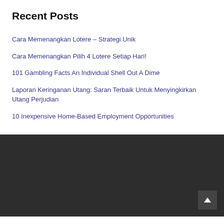Recent Posts
Cara Memenangkan Lotere – Strategi Unik
Cara Memenangkan Pilih 4 Lotere Setiap Hari!
101 Gambling Facts An Individual Shell Out A Dime
Laporan Keringanan Utang: Saran Terbaik Untuk Menyingkirkan Utang Perjudian
10 Inexpensive Home-Based Employment Opportunities